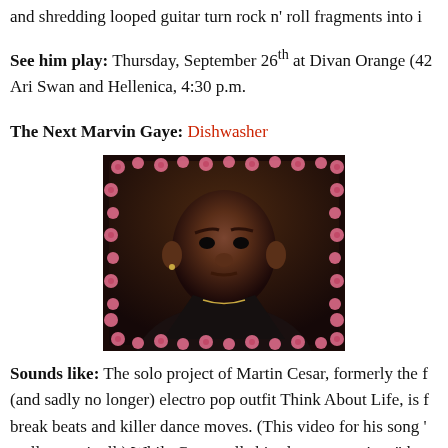and shredding looped guitar turn rock n' roll fragments into i…
See him play: Thursday, September 26th at Divan Orange (42… Ari Swan and Hellenica, 4:30 p.m.
The Next Marvin Gaye: Dishwasher
[Figure (photo): Portrait photo of Martin Cesar, a young Black man in a dark jacket, with a pink rose border decoration around the image frame.]
Sounds like: The solo project of Martin Cesar, formerly the f… (and sadly no longer) electro pop outfit Think About Life, is f… break beats and killer dance moves. (This video for his song '… really says it all.) While Cesar calls his alter-ego project "the…